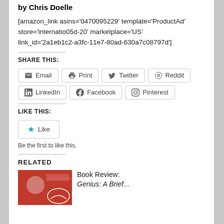by Chris Doelle
[amazon_link asins='0470095229' template='ProductAd' store='internatio05d-20' marketplace='US' link_id='2a1eb1c2-a3fc-11e7-80ad-630a7c08797d']
SHARE THIS:
Email | Print | Twitter | Reddit | LinkedIn | Facebook | Pinterest
LIKE THIS:
Like
Be the first to like this.
RELATED
Book Review: Genius: A Brief...